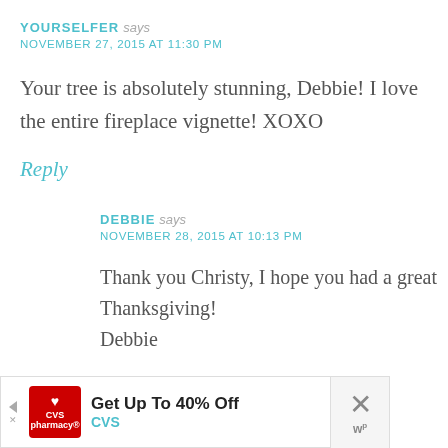YOURSELFER says
NOVEMBER 27, 2015 AT 11:30 PM
Your tree is absolutely stunning, Debbie! I love the entire fireplace vignette! XOXO
Reply
DEBBIE says
NOVEMBER 28, 2015 AT 10:13 PM
Thank you Christy, I hope you had a great Thanksgiving! Debbie
[Figure (other): CVS Pharmacy advertisement banner: Get Up To 40% Off CVS, with CVS pharmacy logo, navigation arrow icon, close button with X]